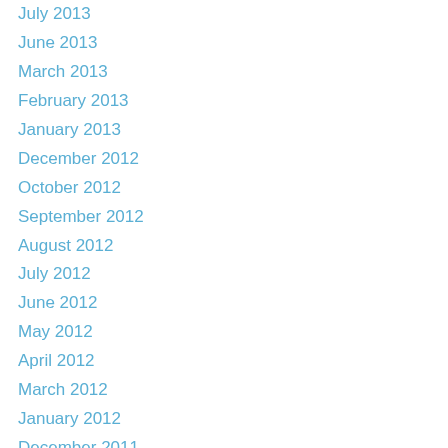July 2013
June 2013
March 2013
February 2013
January 2013
December 2012
October 2012
September 2012
August 2012
July 2012
June 2012
May 2012
April 2012
March 2012
January 2012
December 2011
November 2011
October 2011
September 2011
August 2011